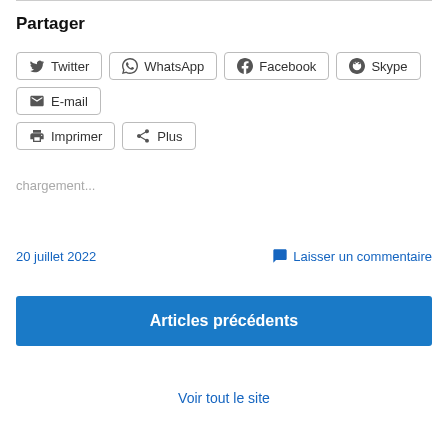Partager
Twitter WhatsApp Facebook Skype E-mail Imprimer Plus
chargement...
20 juillet 2022
Laisser un commentaire
Articles précédents
Voir tout le site